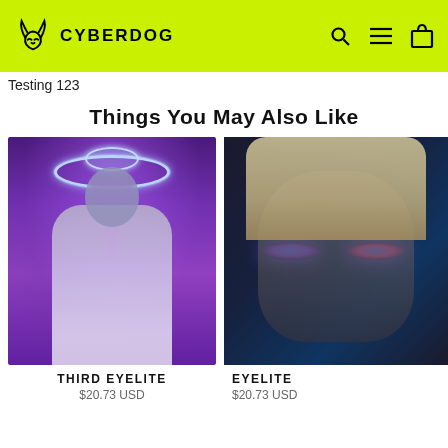CYBERDOG
Testing 123
Things You May Also Like
[Figure (photo): Model with blue-green hair wearing white sleeveless top with cyber symbol, standing in front of neon UFO/alien wall art in purple light]
THIRD EYELITE
$20.73 USD
[Figure (photo): Close-up of model's face with glowing blue/pink LED light effects on eyes in dark setting, partially cropped]
EYELITE
$20.73 USD